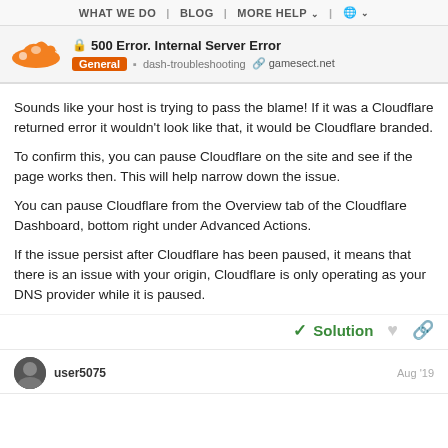WHAT WE DO  |  BLOG  |  MORE HELP  |  🌐
🔒 500 Error. Internal Server Error
General  ▪ dash-troubleshooting  🔗 gamesect.net
Sounds like your host is trying to pass the blame! If it was a Cloudflare returned error it wouldn't look like that, it would be Cloudflare branded.
To confirm this, you can pause Cloudflare on the site and see if the page works then. This will help narrow down the issue.
You can pause Cloudflare from the Overview tab of the Cloudflare Dashboard, bottom right under Advanced Actions.
If the issue persist after Cloudflare has been paused, it means that there is an issue with your origin, Cloudflare is only operating as your DNS provider while it is paused.
✓ Solution
user5075  Aug '19